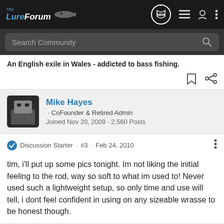The LureForum
An English exile in Wales - addicted to bass fishing.
Mike Hayes · CoFounder & Retired Admin
Joined Nov 20, 2009 · 2,560 Posts
Discussion Starter · #3 · Feb 24, 2010
tim, i'll put up some pics tonight. Im not liking the initial feeling to the rod, way so soft to what im used to! Never used such a lightweight setup, so only time and use will tell, i dont feel confident in using on any sizeable wrasse to be honest though.